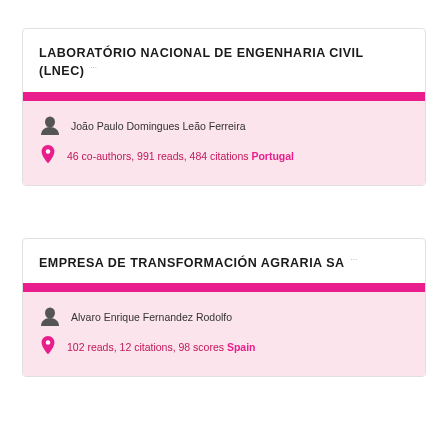LABORATÓRIO NACIONAL DE ENGENHARIA CIVIL (LNEC)
João Paulo Domingues Leão Ferreira
46 co-authors, 991 reads, 484 citations Portugal
EMPRESA DE TRANSFORMACIÓN AGRARIA SA
Alvaro Enrique Fernandez Rodolfo
102 reads, 12 citations, 98 scores Spain